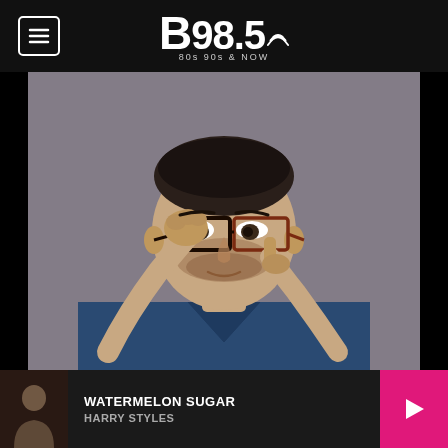B98.5 80s 90s & NOW
[Figure (photo): A man with short dark hair adjusting black-framed glasses with one hand and pointing to his eye with the other, wearing a denim jacket, against a gray background]
WATERMELON SUGAR
HARRY STYLES